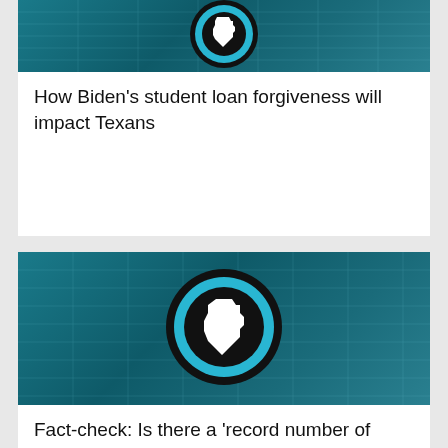[Figure (photo): Teal/dark cyan background with Texas state logo (white Texas silhouette inside black circle with cyan ring) - top article card image, partially visible at top]
How Biden's student loan forgiveness will impact Texans
[Figure (photo): Teal/dark cyan background with Texas state logo (white Texas silhouette inside black circle with cyan ring) - bottom article card image]
Fact-check: Is there a 'record number of people' crossing border illegally?